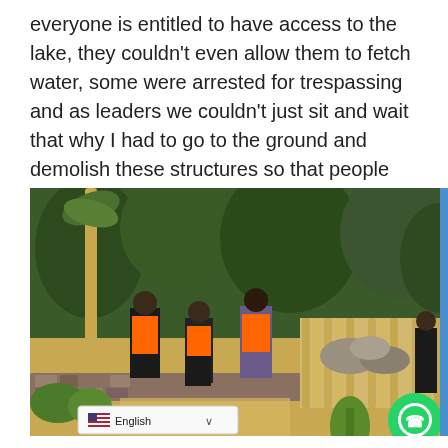everyone is entitled to have access to the lake, they couldn't even allow them to fetch water, some were arrested for trespassing and as leaders we couldn't just sit and wait that why I had to go to the ground and demolish these structures so that people can enjoy the lake." Mutebi said.
[Figure (photo): Workers in orange safety vests demolishing a bamboo fence and stone border structure near a lake, surrounded by trees and greenery. A language selector bar showing 'English' with a US flag is visible at the bottom left, and a WhatsApp button at the bottom right.]